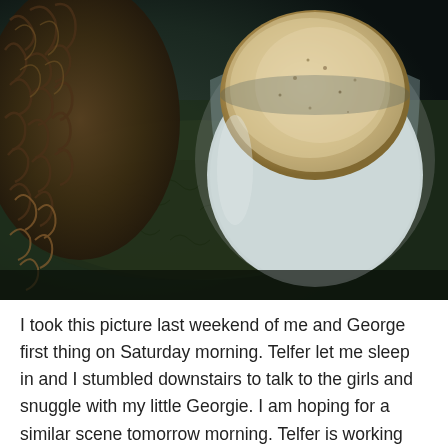[Figure (photo): Close-up photo of a dog's fur on the left side and a white ceramic mug filled with a frothy latte/coffee on the right, both resting on what appears to be a textured surface or blanket. The image has a dark, moody, vintage-toned filter applied.]
I took this picture last weekend of me and George first thing on Saturday morning. Telfer let me sleep in and I stumbled downstairs to talk to the girls and snuggle with my little Georgie. I am hoping for a similar scene tomorrow morning. Telfer is working tonight and part of